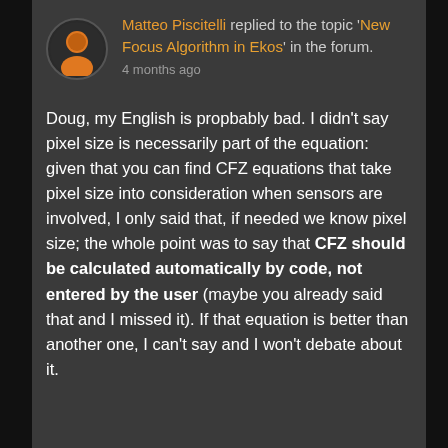Matteo Piscitelli replied to the topic 'New Focus Algorithm in Ekos' in the forum. 4 months ago
Doug, my English is propbably bad. I didn't say pixel size is necessarily part of the equation: given that you can find CFZ equations that take pixel size into consideration when sensors are involved, I only said that, if needed we know pixel size; the whole point was to say that CFZ should be calculated automatically by code, not entered by the user (maybe you already said that and I missed it). If that equation is better than another one, I can't say and I won't debate about it.